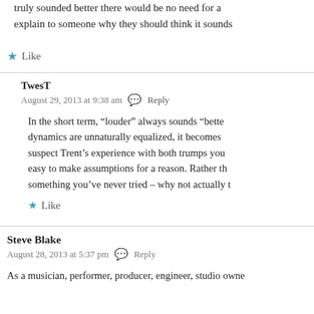truly sounded better there would be no need for a... explain to someone why they should think it sounds
Like
TwesT
August 29, 2013 at 9:38 am  Reply
In the short term, "louder" always sounds "bette... dynamics are unnaturally equalized, it becomes... suspect Trent's experience with both trumps you... easy to make assumptions for a reason. Rather th... something you've never tried – why not actually t
Like
Steve Blake
August 28, 2013 at 5:37 pm  Reply
As a musician, performer, producer, engineer, studio owne